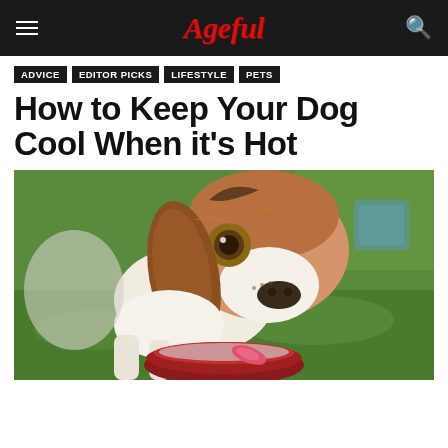Ageful
ADVICE
EDITOR PICKS
LIFESTYLE
PETS
How to Keep Your Dog Cool When it's Hot
[Figure (photo): A beagle dog drinking water from a red bowl outdoors on green grass, close-up shot with blurred outdoor background]